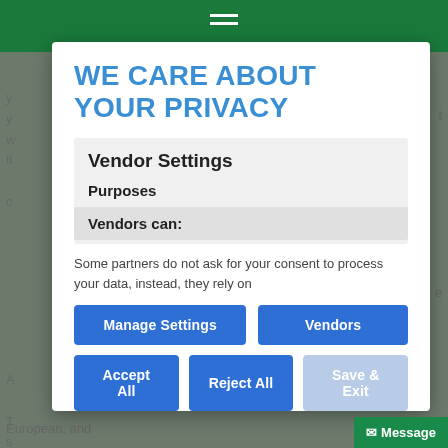WE CARE ABOUT YOUR PRIVACY
Vendor Settings
Purposes
Vendors can:
Some partners do not ask for your consent to process your data, instead, they rely on